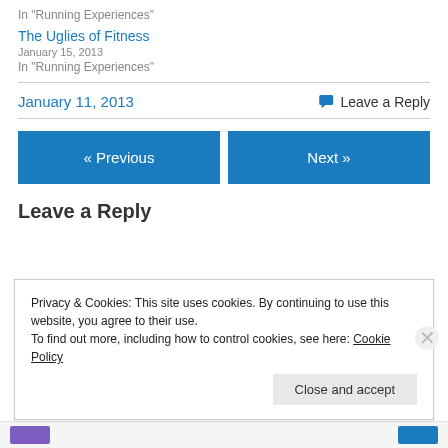In "Running Experiences"
The Uglies of Fitness
January 15, 2013
In "Running Experiences"
January 11, 2013
Leave a Reply
« Previous
Next »
Leave a Reply
Privacy & Cookies: This site uses cookies. By continuing to use this website, you agree to their use.
To find out more, including how to control cookies, see here: Cookie Policy
Close and accept